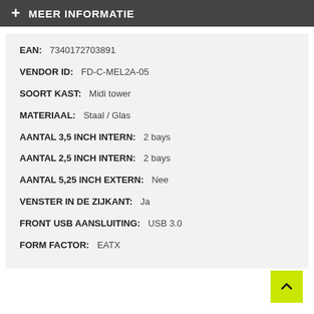+ MEER INFORMATIE
EAN: 7340172703891
VENDOR ID: FD-C-MEL2A-05
SOORT KAST: Midi tower
MATERIAAL: Staal / Glas
AANTAL 3,5 INCH INTERN: 2 bays
AANTAL 2,5 INCH INTERN: 2 bays
AANTAL 5,25 INCH EXTERN: Nee
VENSTER IN DE ZIJKANT: Ja
FRONT USB AANSLUITING: USB 3.0
FORM FACTOR: EATX